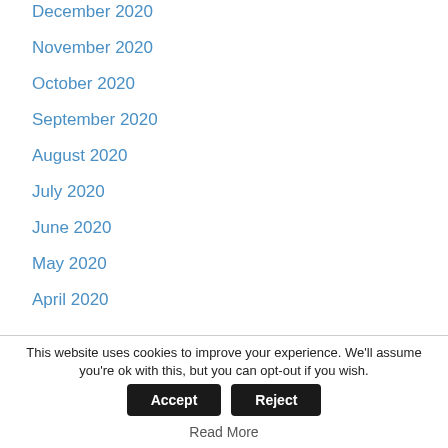December 2020
November 2020
October 2020
September 2020
August 2020
July 2020
June 2020
May 2020
April 2020
This website uses cookies to improve your experience. We'll assume you're ok with this, but you can opt-out if you wish.
Read More